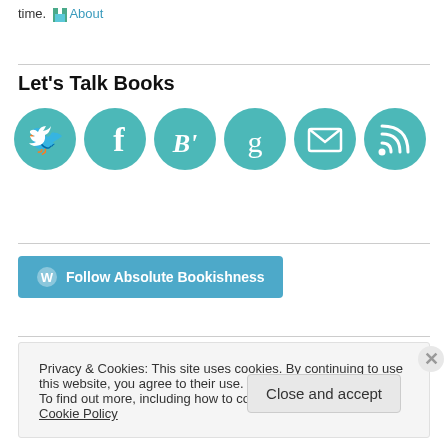time. About
Let's Talk Books
[Figure (infographic): Six teal circular social media icons: Twitter bird, Facebook f, Blogger B', Goodreads g, Email envelope, RSS feed]
[Figure (other): Follow Absolute Bookishness button with WordPress logo]
Privacy & Cookies: This site uses cookies. By continuing to use this website, you agree to their use. To find out more, including how to control cookies, see here: Cookie Policy
Close and accept